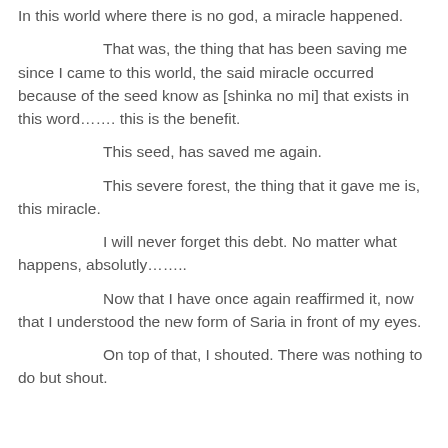In this world where there is no god, a miracle happened.
That was, the thing that has been saving me since I came to this world, the said miracle occurred because of the seed know as [shinka no mi] that exists in this word……. this is the benefit.
This seed, has saved me again.
This severe forest, the thing that it gave me is, this miracle.
I will never forget this debt. No matter what happens, absolutly……..
Now that I have once again reaffirmed it, now that I understood the new form of Saria in front of my eyes.
On top of that, I shouted. There was nothing to do but shout.